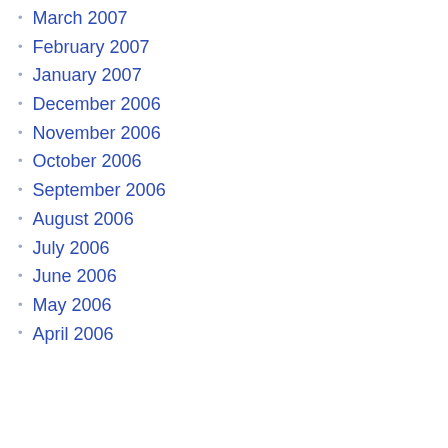March 2007
February 2007
January 2007
December 2006
November 2006
October 2006
September 2006
August 2006
July 2006
June 2006
May 2006
April 2006